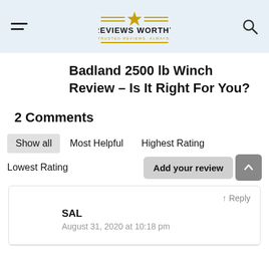Reviews Worthy — Trusted Reviews. Always.
Badland 2500 lb Winch Review – Is It Right For You?
2 Comments
Show all   Most Helpful   Highest Rating   Lowest Rating
Add your review
↑ Reply
SAL
August 31, 2020 at 10:18 pm